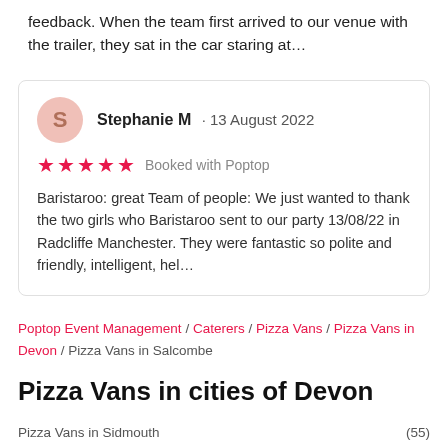feedback. When the team first arrived to our venue with the trailer, they sat in the car staring at…
Stephanie M · 13 August 2022
★★★★★ Booked with Poptop
Baristaroo: great Team of people: We just wanted to thank the two girls who Baristaroo sent to our party 13/08/22 in Radcliffe Manchester. They were fantastic so polite and friendly, intelligent, hel…
Poptop Event Management / Caterers / Pizza Vans / Pizza Vans in Devon / Pizza Vans in Salcombe
Pizza Vans in cities of Devon
Pizza Vans in Sidmouth (55)